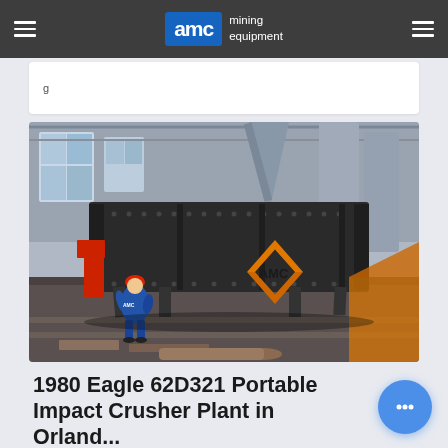AMC Mining Equipment
g
[Figure (photo): Industrial mining vibrating screen machine in a factory setting, with a worker in blue coveralls and red hard hat crouching beside it. The AMC logo is visible on the bottom right of the equipment. Heavy grey industrial machinery and silos are visible in the background.]
1980 Eagle 62D321 Portable Impact Crusher Plant in Orland...